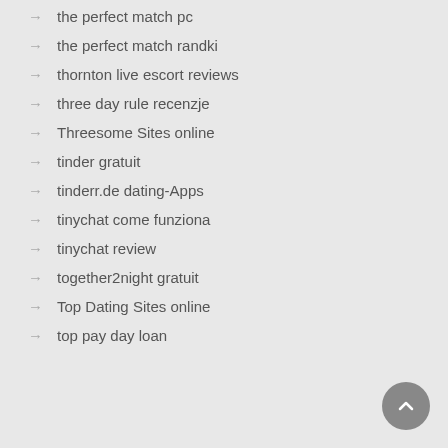the perfect match pc
the perfect match randki
thornton live escort reviews
three day rule recenzje
Threesome Sites online
tinder gratuit
tinderr.de dating-Apps
tinychat come funziona
tinychat review
together2night gratuit
Top Dating Sites online
top pay day loan